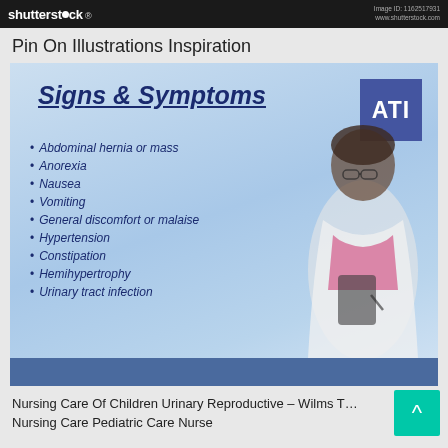shutterstock  Image ID: 1162517931
Pin On Illustrations Inspiration
[Figure (illustration): Medical illustration showing Signs & Symptoms of a condition (likely Wilms Tumor) with bullet points: Abdominal hernia or mass, Anorexia, Nausea, Vomiting, General discomfort or malaise, Hypertension, Constipation, Hemihypertrophy, Urinary tract infection. ATI logo in top right. Nurse figure on the right side of image. Blue banner at bottom.]
Nursing Care Of Children Urinary Reproductive – Wilms T… Nursing Care Pediatric Care Nurse